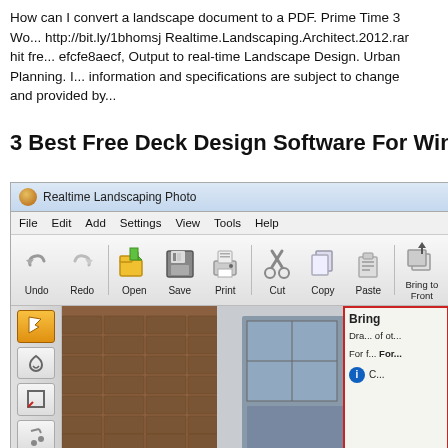How can I convert a landscape document to a PDF. Prime Time 3 Wo... http://bit.ly/1bhomsj Realtime.Landscaping.Architect.2012.rar hit fre... efcfe8aecf, Output to real-time Landscape Design. Urban Planning. I... information and specifications are subject to change and provided by...
3 Best Free Deck Design Software For Windows
[Figure (screenshot): Screenshot of Realtime Landscaping Photo software window showing the application toolbar with File, Edit, Add, Settings, View, Tools, Help menu, toolbar buttons (Undo, Redo, Open, Save, Print, Cut, Copy, Paste, Bring to Front), left tool panel, and main landscape photo view with a 'Bring to Front' popup tooltip panel highlighted in red border.]